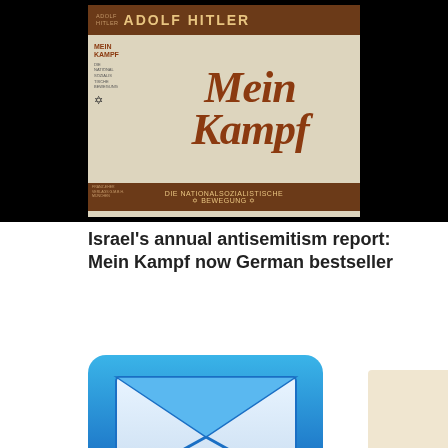[Figure (photo): Book cover of Mein Kampf by Adolf Hitler. Dark brown top bar with author name 'ADOLF HITLER'. Main cover area in beige/cream with large italic text 'Mein Kampf' in dark reddish-brown. Left side has smaller text 'MEIN KAMPF DIE NATIONALSOZIALISTISCHE BEWEGUNG' and a swastika symbol. Bottom bar has 'DIE NATIONALSOZIALISTISCHE ✡ BEWEGUNG ✡'. Publisher noted as Franz-Eher, Munich. Black background surrounds the book.]
Israel's annual antisemitism report: Mein Kampf now German bestseller
[Figure (illustration): Blue email/envelope icon — a blue rounded rectangle containing a white envelope with blue diagonal lines forming an X pattern (open envelope). Partially visible at bottom of page.]
[Figure (illustration): Partial view of another image in the bottom right corner, showing a beige/tan colored background — appears to be another book cover or image, mostly cropped out of frame.]